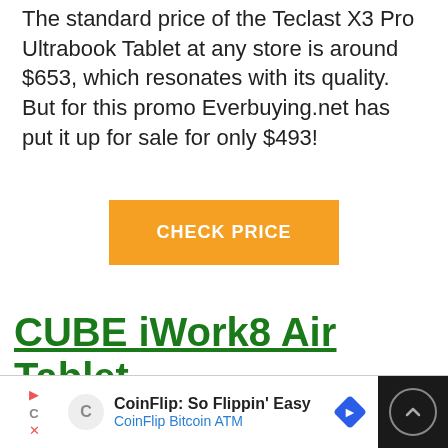The standard price of the Teclast X3 Pro Ultrabook Tablet at any store is around $653, which resonates with its quality. But for this promo Everbuying.net has put it up for sale for only $493!
[Figure (other): Orange button labeled CHECK PRICE]
CUBE iWork8 Air Tablet
[Figure (photo): Photo of a white tablet (CUBE iWork8 Air) showing Windows 10 interface on its screen, angled view]
[Figure (other): Advertisement banner: CoinFlip: So Flippin' Easy — CoinFlip Bitcoin ATM]